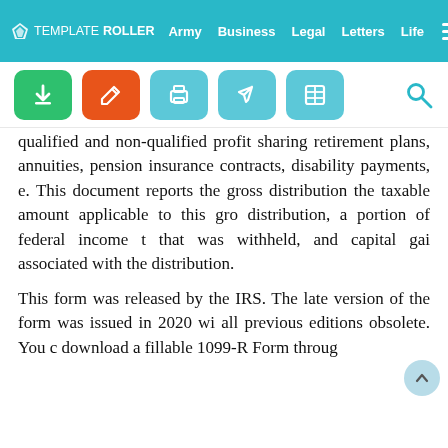TEMPLATEROLLER  Army  Business  Legal  Letters  Life
[Figure (screenshot): Toolbar with download (green), edit (orange), print, share, and table (teal) buttons, plus a search icon]
qualified and non-qualified profit sharing retirement plans, annuities, pension insurance contracts, disability payments, e. This document reports the gross distribution, the taxable amount applicable to this gross distribution, a portion of federal income tax that was withheld, and capital gain associated with the distribution.
This form was released by the IRS. The latest version of the form was issued in 2020 with all previous editions obsolete. You can download a fillable 1099-R Form through